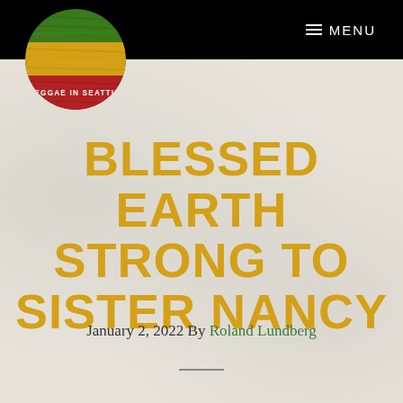MENU
[Figure (logo): Reggae In Seattle circular logo with green, yellow and red horizontal bands]
BLESSED EARTH STRONG TO SISTER NANCY
January 2, 2022 By Roland Lundberg